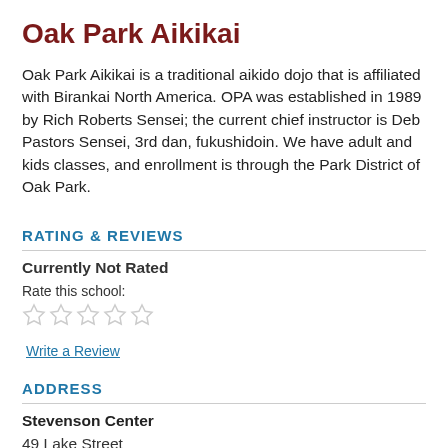Oak Park Aikikai
Oak Park Aikikai is a traditional aikido dojo that is affiliated with Birankai North America. OPA was established in 1989 by Rich Roberts Sensei; the current chief instructor is Deb Pastors Sensei, 3rd dan, fukushidoin. We have adult and kids classes, and enrollment is through the Park District of Oak Park.
RATING & REVIEWS
Currently Not Rated
Rate this school:
Write a Review
ADDRESS
Stevenson Center
49 Lake Street
Oak Park, IL 60302